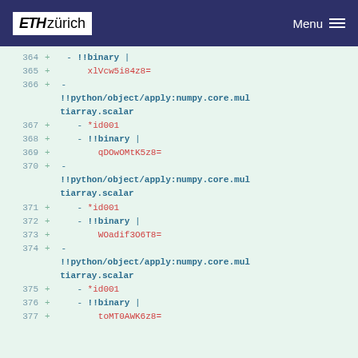ETH zürich | Menu
364 + - !!binary |
365 +     xlVcw5i84z8=
366 + - !!python/object/apply:numpy.core.multiarray.scalar
367 +   - *id001
368 +   - !!binary |
369 +       qDOwOMtK5z8=
370 + - !!python/object/apply:numpy.core.multiarray.scalar
371 +   - *id001
372 +   - !!binary |
373 +       WOadif3O6T8=
374 + - !!python/object/apply:numpy.core.multiarray.scalar
375 +   - *id001
376 +   - !!binary |
377 +       toMT0AWK6z8=